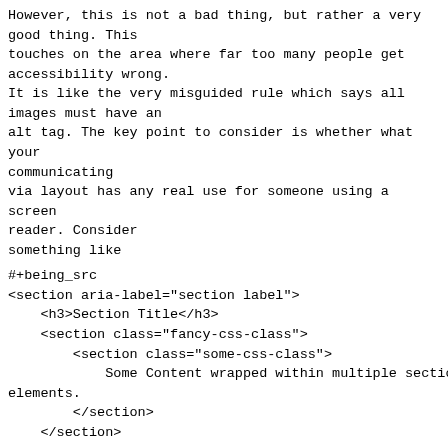However, this is not a bad thing, but rather a very good thing. This
touches on the area where far too many people get accessibility wrong.
It is like the very misguided rule which says all images must have an
alt tag. The key point to consider is whether what your communicating
via layout has any real use for someone using a screen reader. Consider
something like
#+being_src
<section aria-label="section label">
    <h3>Section Title</h3>
    <section class="fancy-css-class">
        <section class="some-css-class">
            Some Content wrapped within multiple section elements.
        </section>
    </section>
    ...
</section>
#+end_src
The inner <section> is being used to avoid using a <div> in the mistaken
belief that using a <div> (or <span>) would be bad for accessibility.
Unfortunately, the above wil often result in the screen